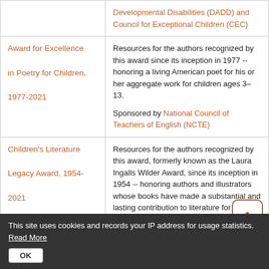| Award | Description |
| --- | --- |
|  | Developmental Disabilities (DADD) and Council for Exceptional Children (CEC) |
| Award for Excellence in Poetry for Children, 1977-2021 | Resources for the authors recognized by this award since its inception in 1977 -- honoring a living American poet for his or her aggregate work for children ages 3–13.
Sponsored by National Council of Teachers of English (NCTE) |
| Children's Literature Legacy Award, 1954-2021 | Resources for the authors recognized by this award, formerly known as the Laura Ingalls Wilder Award, since its inception in 1954 -- honoring authors and illustrators whose books have made a substantial and lasting contribution to literature for children in the United States
Sponsored by Association for Library Service to Children (ALSC) |
This site uses cookies and records your IP address for usage statistics. Read More